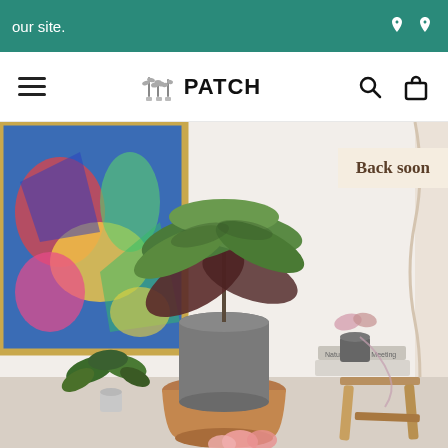our site.
[Figure (logo): PATCH plant shop logo with navigation bar showing hamburger menu, search icon, and bag icon]
[Figure (photo): Indoor plant scene showing a large calathea in a grey cylinder pot on a terracotta pedestal, a small plant on the left, flowers at the bottom, stacked books and a wooden stool on the right, with abstract colorful art on the wall]
Back soon